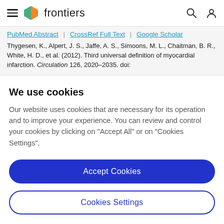frontiers (navigation bar with hamburger menu, logo, search icon, user icon)
PubMed Abstract | CrossRef Full Text | Google Scholar
Thygesen, K., Alpert, J. S., Jaffe, A. S., Simoons, M. L., Chaitman, B. R., White, H. D., et al. (2012). Third universal definition of myocardial infarction. Circulation 126, 2020–2035. doi:
We use cookies
Our website uses cookies that are necessary for its operation and to improve your experience. You can review and control your cookies by clicking on "Accept All" or on "Cookies Settings".
Accept Cookies
Cookies Settings